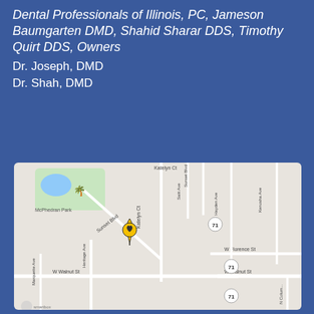Dental Professionals of Illinois, PC, Jameson Baumgarten DMD, Shahid Sharar DDS, Timothy Quirt DDS, Owners
Dr. Joseph, DMD
Dr. Shah, DMD
[Figure (map): Street map showing location marker (yellow heart-shaped pin) near intersection of Katelyn Ct and Heritage Ave area, with streets including W Walnut St, Sunset Blvd, W Florence St, Hayden Ave, Kenosha Ave, Marquette Ave, Katelyn Ct, Sunset Blvd, route 71 markers, and McPhedran Park in upper left.]